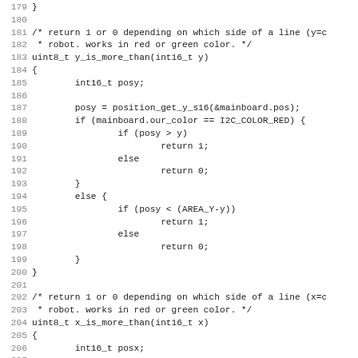Source code fragment showing C functions y_is_more_than and x_is_more_than, lines 179-211